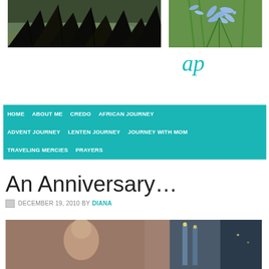[Figure (photo): Dark silhouette of tropical leaves against a sunset/water background, dark tones]
[Figure (photo): Blue/purple agapanthus flowers with green stems, close-up]
a p
HOME   ABOUT ME   CREDO   AFRICAN JOURNEY   ADVENT JOURNEY   LENTEN JOURNEY   JOURNEY WITH MOM   TRAVELING MERCIES   PRAYERS
An Anniversary…
DECEMBER 19, 2010 BY DIANA
[Figure (photo): Indoor photo showing a person and what appears to be candles or lights in the background]